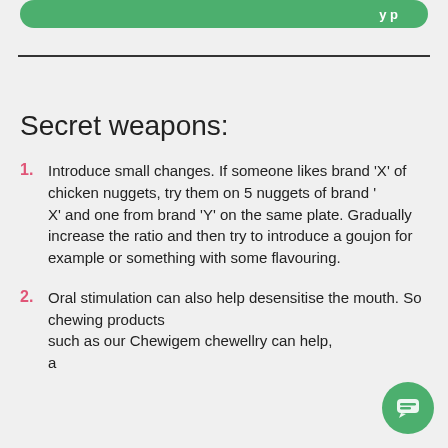Secret weapons:
Introduce small changes. If someone likes brand 'X' of chicken nuggets, try them on 5 nuggets of brand 'X' and one from brand 'Y' on the same plate. Gradually increase the ratio and then try to introduce a goujon for example or something with some flavouring.
Oral stimulation can also help desensitise the mouth. So chewing products such as our Chewigem chewellry can help, a